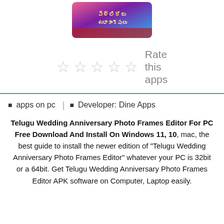[Figure (illustration): App icon or banner image for Telugu Wedding Anniversary Photo Frames Editor, showing colorful Indian wedding themed graphic with Telugu script text]
[Figure (other): Five empty star rating icons with 'Rate this apps' text on the right]
apps on pc | Developer: Dine Apps
Telugu Wedding Anniversary Photo Frames Editor For PC Free Download And Install On Windows 11, 10, mac, the best guide to install the newer edition of "Telugu Wedding Anniversary Photo Frames Editor" whatever your PC is 32bit or a 64bit. Get Telugu Wedding Anniversary Photo Frames Editor APK software on Computer, Laptop easily.